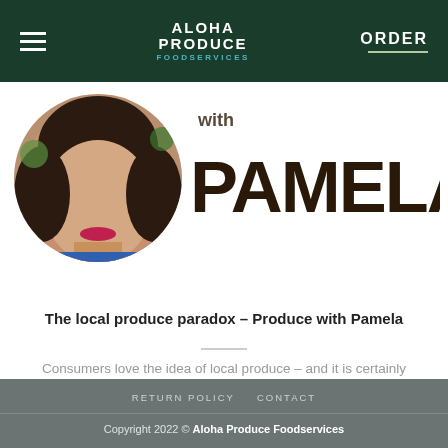ALOHA PRODUCE FOODSERVICES | ORDER
[Figure (photo): Circular cropped portrait photo of Pamela, a woman with dark hair and red lipstick, wearing a blue top with colorful avocado/leaf pattern background. Adjacent text graphic reads 'with PAMELA' in large stylized letters.]
The local produce paradox – Produce with Pamela
Consumers love the idea of local produce – and it is certainly amazing when it's [...]
RETURN POLICY   CONTACT
Copyright 2022 © Aloha Produce Foodservices